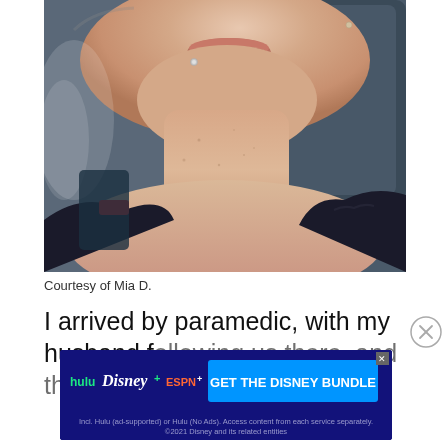[Figure (photo): Close-up selfie photo of a woman showing her lower face, neck, and upper chest/décolletage area. She has a lip/cheek piercing, is wearing a dark top, and appears to be sitting in a car seat.]
Courtesy of Mia D.
I arrived by paramedic, with my husband following us there, and they had a room
[Figure (screenshot): Advertisement banner for Disney Bundle featuring Hulu, Disney+, and ESPN+ logos with blue background and call-to-action button reading 'GET THE DISNEY BUNDLE'. Fine print reads: Incl. Hulu (ad-supported) or Hulu (No Ads). Access content from each service separately. ©2021 Disney and its related entities]